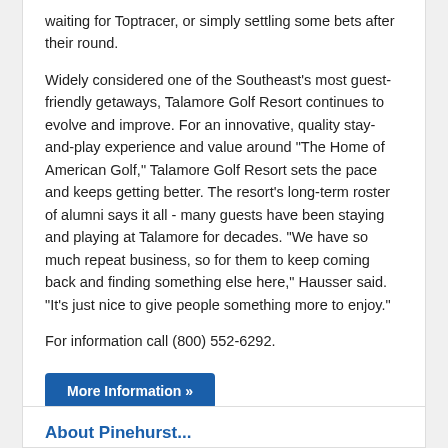waiting for Toptracer, or simply settling some bets after their round.
Widely considered one of the Southeast's most guest-friendly getaways, Talamore Golf Resort continues to evolve and improve. For an innovative, quality stay-and-play experience and value around "The Home of American Golf," Talamore Golf Resort sets the pace and keeps getting better. The resort's long-term roster of alumni says it all - many guests have been staying and playing at Talamore for decades. "We have so much repeat business, so for them to keep coming back and finding something else here," Hausser said. "It's just nice to give people something more to enjoy."
For information call (800) 552-6292.
More Information »
Revised: 03/25/2022 - Article Viewed 943 Times - View Course Profile
About Pinehurst...